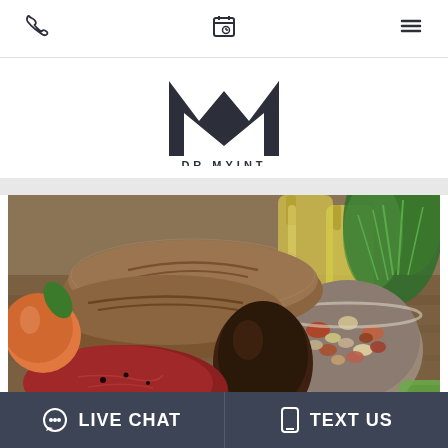Navigation bar with phone icon, calendar icon, and menu icon
[Figure (logo): DR.MYINT logo — large stylized M lettermark in dark navy above the text DR.MYINT in spaced caps]
[Figure (photo): Overhead photo of Mediterranean-style foods: artisan bread loaves, avocado, raw red meat, a peach or tomato, glass jars of olive oil, mixed dry beans/legumes, and fresh green herbs (dill, rosemary)]
LIVE CHAT
TEXT US